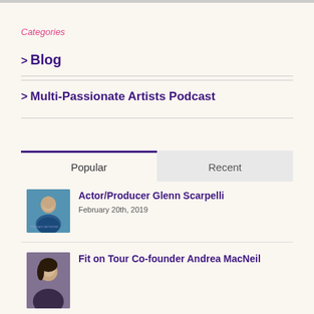Categories
> Blog
> Multi-Passionate Artists Podcast
Popular | Recent (tabs)
[Figure (photo): Thumbnail photo of Glenn Scarpelli smiling, with podcast artwork text in background]
Actor/Producer Glenn Scarpelli
February 20th, 2019
[Figure (photo): Thumbnail photo of Andrea MacNeil, Fit on Tour Co-founder]
Fit on Tour Co-founder Andrea MacNeil